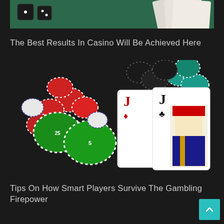[Figure (photo): Top portion of a casino scene showing dice and playing cards on a dark green felt surface]
The Best Results In Casino Will Be Achieved Here
[Figure (photo): Colorful casino chips (red, green, black, teal) piled together with two Jack playing cards (Jack of Diamonds and Jack of Clubs) held in a hand in the foreground]
Tips On How Smart Players Survive The Gambling Firepower